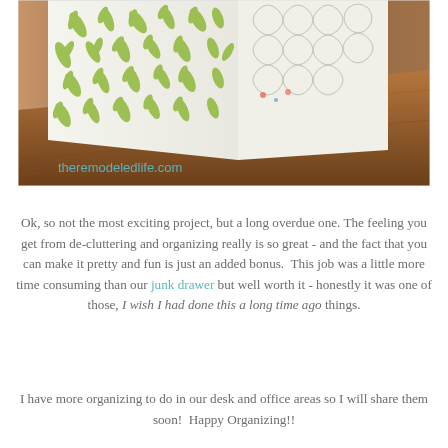[Figure (photo): Close-up photo of a white decorative organizer with green floral/leaf cutout pattern sitting on a wooden surface. Watermark reads 'theremodeledlife.com' in teal text at bottom left.]
Ok, so not the most exciting project, but a long overdue one. The feeling you get from de-cluttering and organizing really is so great - and the fact that you can make it pretty and fun is just an added bonus. This job was a little more time consuming than our junk drawer but well worth it - honestly it was one of those, I wish I had done this a long time ago things.
I have more organizing to do in our desk and office areas so I will share them soon! Happy Organizing!!